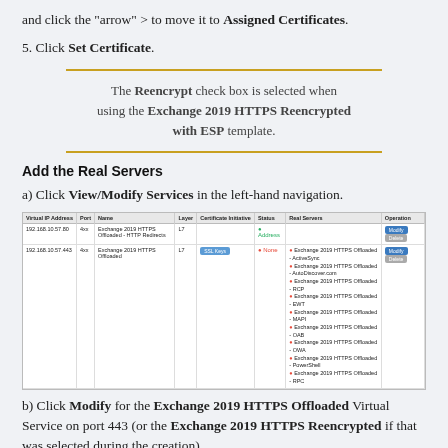and click the "arrow" > to move it to Assigned Certificates.
5. Click Set Certificate.
The Reencrypt check box is selected when using the Exchange 2019 HTTPS Reencrypted with ESP template.
Add the Real Servers
a) Click View/Modify Services in the left-hand navigation.
[Figure (screenshot): Screenshot of a table showing Virtual IP Address, Port, Name, Layer, Certificate Initiative, Status, Real Servers, and Operation columns with two rows of Exchange 2019 HTTPS services.]
b) Click Modify for the Exchange 2019 HTTPS Offloaded Virtual Service on port 443 (or the Exchange 2019 HTTPS Reencrypted if that was selected during the creation).